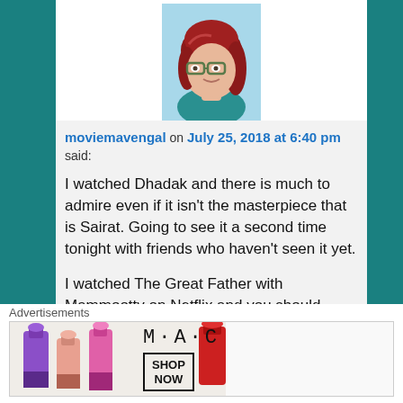[Figure (illustration): Avatar/bitmoji of a woman with red hair and glasses, wearing a teal top, on a light blue background]
moviemavengal on July 25, 2018 at 6:40 pm said: I watched Dhadak and there is much to admire even if it isn't the masterpiece that is Sairat. Going to see it a second time tonight with friends who haven't seen it yet.

I watched The Great Father with Mammootty on Netflix and you should avoid this movie at all costs. I was incandescent with RAGE at
Advertisements
[Figure (photo): MAC cosmetics advertisement banner showing colorful lipsticks on the left, MAC brand name in center, and a SHOP NOW button]